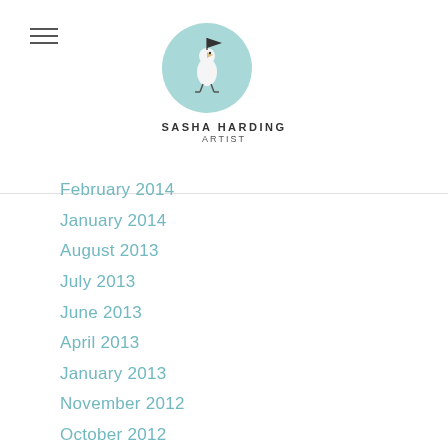[Figure (logo): Sasha Harding Artist logo: circular teal background with illustrated bird holding a flag, text 'SASHA HARDING ARTIST' below]
February 2014
January 2014
August 2013
July 2013
June 2013
April 2013
January 2013
November 2012
October 2012
September 2012
July 2012
June 2012
May 2012
April 2012
March 2012
February 2012
December 2011